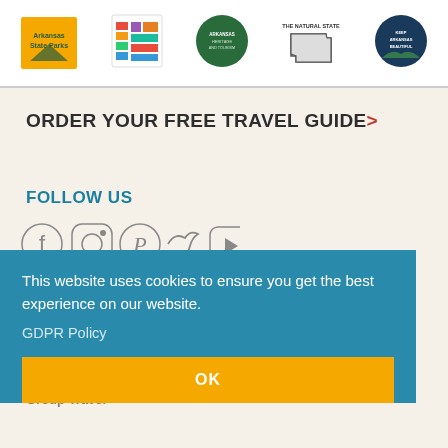[Figure (logo): Row of logos: Arkansas State Parks, multicolor heritage logo, Arkansas Heritage and Tourism (green circle), Arkansas The Natural State, Keep Arkansas Beautiful (dark blue circle)]
ORDER YOUR FREE TRAVEL GUIDE>
FOLLOW US
[Figure (infographic): Social media icons: Facebook, Instagram, Pinterest, Twitter, YouTube]
This website uses cookies to ensure you get the best experience on our website.
GDPR Policy
OK
RESOURCES
Arkansas.com
Arkansas State Parks
Keep Arkansas Beautiful
Group Travel